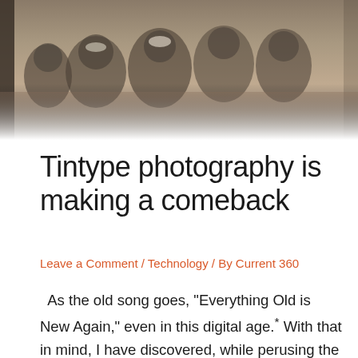[Figure (photo): Sepia-toned tintype photograph showing several people crouching or sitting on the ground, in an old historical style with faded edges at the bottom.]
Tintype photography is making a comeback
Leave a Comment / Technology / By Current 360
As the old song goes, “Everything Old is New Again,” even in this digital age.* With that in mind, I have discovered, while perusing the internet of course, that tintype photography is